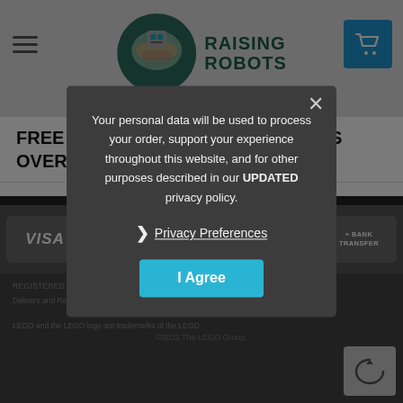[Figure (logo): Raising Robots logo with circular icon showing hands and robot, alongside RAISING ROBOTS text]
FREE DELIVERY ON ALL UK ORDERS OVER £75 (INCL VAT)
[Figure (infographic): Payment method badges: VISA, MasterCard, PayPal, stripe, BANK TRANSFER on dark background]
REGISTERED OFFICE: [address text partially visible behind overlay]
Delivery and Returns | Privacy | Terms and Conditions
©2022 Raising Robots Ltd
LEGO and the LEGO logo are trademarks of the LEGO
©2022 The LEGO Group.
Your personal data will be used to process your order, support your experience throughout this website, and for other purposes described in our UPDATED privacy policy.
❯ Privacy Preferences
I Agree